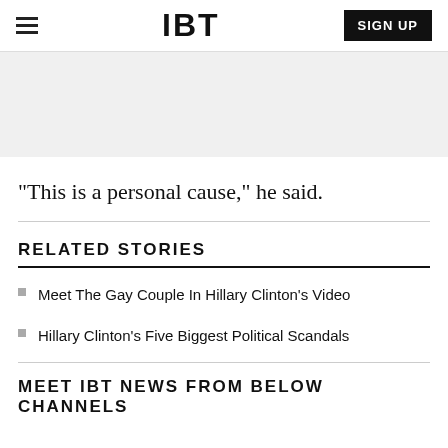IBT | SIGN UP
[Figure (other): Light grey advertisement banner area]
"This is a personal cause," he said.
RELATED STORIES
Meet The Gay Couple In Hillary Clinton's Video
Hillary Clinton's Five Biggest Political Scandals
MEET IBT NEWS FROM BELOW CHANNELS